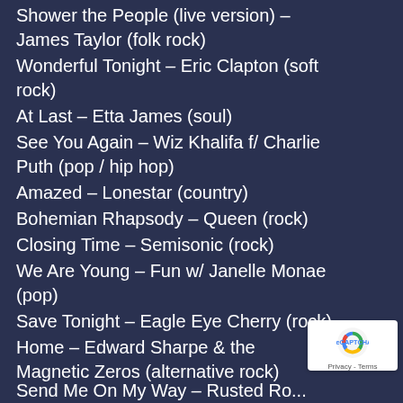Shower the People (live version) – James Taylor (folk rock)
Wonderful Tonight – Eric Clapton (soft rock)
At Last – Etta James (soul)
See You Again – Wiz Khalifa f/ Charlie Puth (pop / hip hop)
Amazed – Lonestar (country)
Bohemian Rhapsody – Queen (rock)
Closing Time – Semisonic (rock)
We Are Young – Fun w/ Janelle Monae (pop)
Save Tonight – Eagle Eye Cherry (rock)
Home – Edward Sharpe & the Magnetic Zeros (alternative rock)
Send Me On My Way – Rusted Root (...)